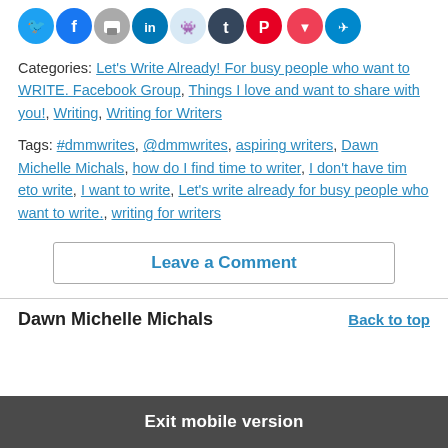[Figure (other): Row of social sharing icon circles: Twitter (blue), Facebook (blue), Print (gray), LinkedIn (blue), Reddit (light blue), Tumblr (dark blue), Pinterest (red), Pocket (red), Telegram (blue)]
Categories: Let's Write Already! For busy people who want to WRITE. Facebook Group, Things I love and want to share with you!, Writing, Writing for Writers
Tags: #dmmwrites, @dmmwrites, aspiring writers, Dawn Michelle Michals, how do I find time to writer, I don't have tim eto write, I want to write, Let's write already for busy people who want to write., writing for writers
Leave a Comment
Dawn Michelle Michals
Back to top
Exit mobile version